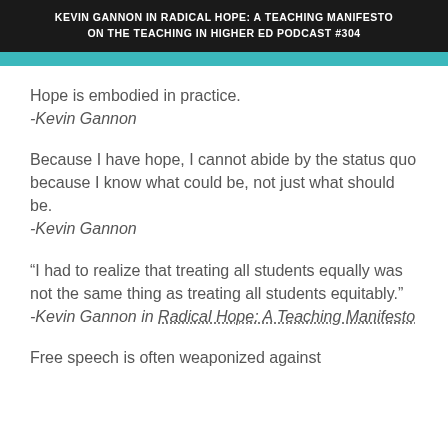KEVIN GANNON IN RADICAL HOPE: A TEACHING MANIFESTO ON THE TEACHING IN HIGHER ED PODCAST #304
Hope is embodied in practice.
-Kevin Gannon
Because I have hope, I cannot abide by the status quo because I know what could be, not just what should be.
-Kevin Gannon
“I had to realize that treating all students equally was not the same thing as treating all students equitably.”
-Kevin Gannon in Radical Hope: A Teaching Manifesto
Free speech is often weaponized against